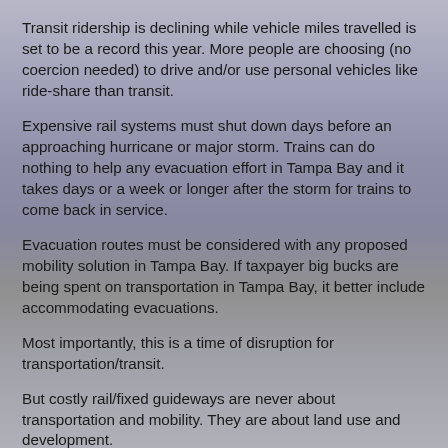Transit ridership is declining while vehicle miles travelled is set to be a record this year. More people are choosing (no coercion needed) to drive and/or use personal vehicles like ride-share than transit.
Expensive rail systems must shut down days before an approaching hurricane or major storm. Trains can do nothing to help any evacuation effort in Tampa Bay and it takes days or a week or longer after the storm for trains to come back in service.
Evacuation routes must be considered with any proposed mobility solution in Tampa Bay. If taxpayer big bucks are being spent on transportation in Tampa Bay, it better include accommodating evacuations.
Most importantly, this is a time of disruption for transportation/transit.
But costly rail/fixed guideways are never about transportation and mobility. They are about land use and development.